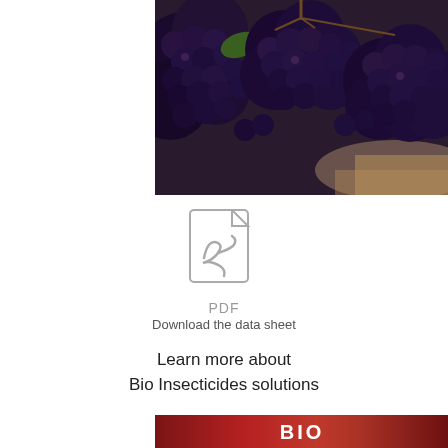[Figure (photo): Close-up photo of dark purple/blue grapes hanging on vines, multiple clusters visible]
[Figure (other): PDF document icon in light gray]
PDF
Download the data sheet
Learn more about Bio Insecticides solutions
[Figure (other): Red gradient banner with bold white text reading BIO]